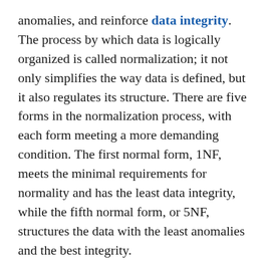anomalies, and reinforce data integrity. The process by which data is logically organized is called normalization; it not only simplifies the way data is defined, but it also regulates its structure. There are five forms in the normalization process, with each form meeting a more demanding condition. The first normal form, 1NF, meets the minimal requirements for normality and has the least data integrity, while the fifth normal form, or 5NF, structures the data with the least anomalies and the best integrity.
Stored data is manipulated using a programming language called Structured Query Language, or SQL. Many varieties of